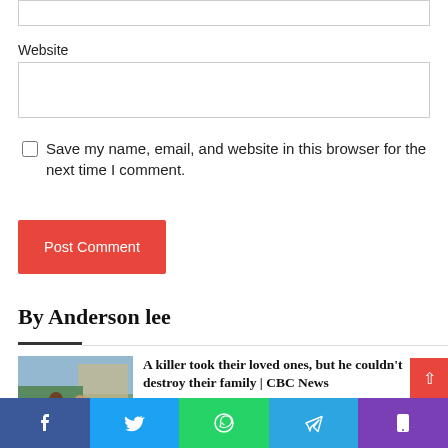Website
Save my name, email, and website in this browser for the next time I comment.
Post Comment
By Anderson lee
A killer took their loved ones, but he couldn't destroy their family | CBC News
1 hour ago